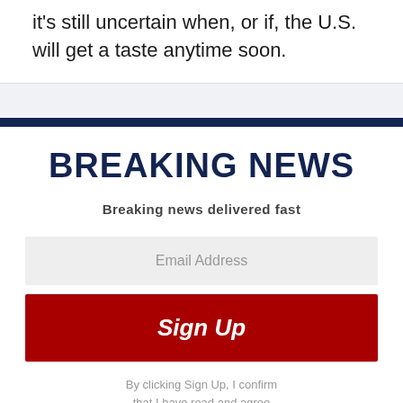it's still uncertain when, or if, the U.S. will get a taste anytime soon.
BREAKING NEWS
Breaking news delivered fast
Email Address
Sign Up
By clicking Sign Up, I confirm that I have read and agree to the Privacy Policy